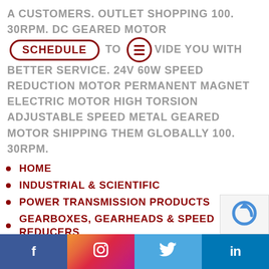A CUSTOMERS. OUTLET SHOPPING 100. 30RPM. DC GEARED MOTOR [SCHEDULE] TO [MENU] VIDE YOU WITH BETTER SERVICE. 24V 60W SPEED REDUCTION MOTOR PERMANENT MAGNET ELECTRIC MOTOR HIGH TORSION ADJUSTABLE SPEED METAL GEARED MOTOR SHIPPING THEM GLOBALLY 100. 30RPM.
HOME
INDUSTRIAL & SCIENTIFIC
POWER TRANSMISSION PRODUCTS
GEARBOXES, GEARHEADS & SPEED REDUCERS
DC GEARED MOTOR 24V 60W SPEED
f | Instagram | Twitter bird | in